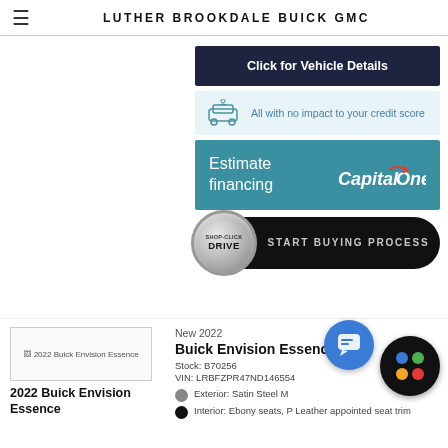LUTHER BROOKDALE BUICK GMC
Click for Vehicle Details
All with no impact to your credit score
Estimate financing
SHOP·CLICK DRIVE START BUYING PROCESS
[Figure (screenshot): 2022 Buick Envision Essence vehicle thumbnail image placeholder]
2022 Buick Envision Essence
New 2022
Buick Envision Essence
Stock: B70256
VIN: LRBFZPR47ND146554
Exterior: Satin Steel M
Interior: Ebony seats, Leather appointed seat trim